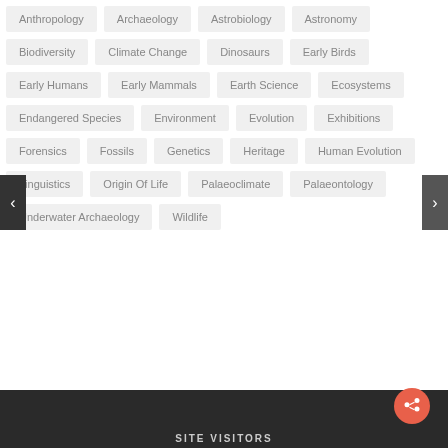Anthropology
Archaeology
Astrobiology
Astronomy
Biodiversity
Climate Change
Dinosaurs
Early Birds
Early Humans
Early Mammals
Earth Science
Ecosystems
Endangered Species
Environment
Evolution
Exhibitions
Forensics
Fossils
Genetics
Heritage
Human Evolution
Linguistics
Origin Of Life
Palaeoclimate
Palaeontology
Underwater Archaeology
Wildlife
SITE VISITORS